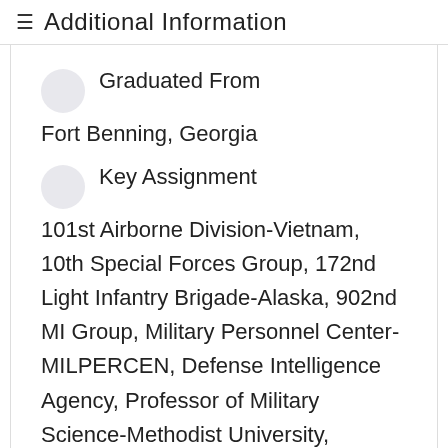≡  Additional Information
Graduated From
Fort Benning, Georgia
Key Assignment
101st Airborne Division-Vietnam, 10th Special Forces Group, 172nd Light Infantry Brigade-Alaska, 902nd MI Group, Military Personnel Center-MILPERCEN, Defense Intelligence Agency, Professor of Military Science-Methodist University, Commander, 306th MI Battalion, Combined Field